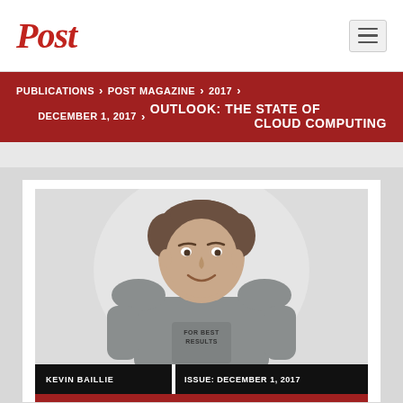Post
PUBLICATIONS > POST MAGAZINE > 2017 > DECEMBER 1, 2017 > OUTLOOK: THE STATE OF CLOUD COMPUTING
[Figure (photo): Photo of Kevin Baillie, a man in a grey t-shirt with 'FOR BEST RESULTS' text, smiling against a light background]
KEVIN BAILLIE   ISSUE: DECEMBER 1, 2017